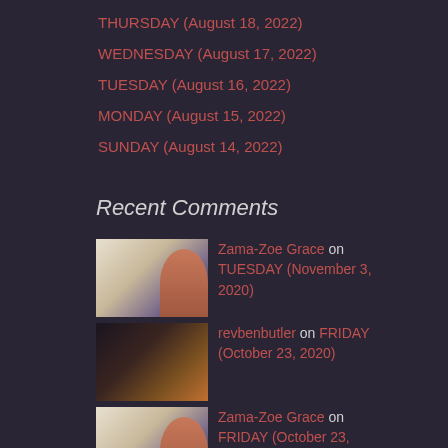THURSDAY (August 18, 2022)
WEDNESDAY (August 17, 2022)
TUESDAY (August 16, 2022)
MONDAY (August 15, 2022)
SUNDAY (August 14, 2022)
Recent Comments
Zama-Zoe Grace on TUESDAY (November 3, 2020)
revbenbutler on FRIDAY (October 23, 2020)
Zama-Zoe Grace on FRIDAY (October 23,